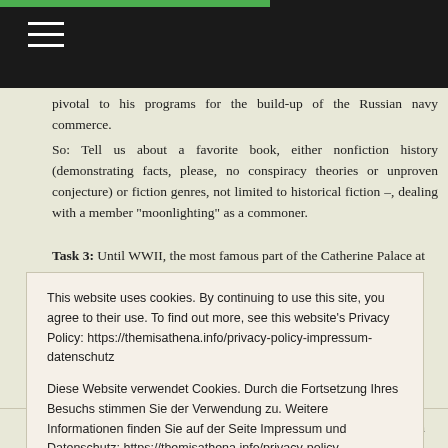Navigation bar with hamburger menu
pivotal to his programs for the build-up of the Russian navy commerce.
So: Tell us about a favorite book, either nonfiction history (demonstrating facts, please, no conspiracy theories or unproven conjecture) or fiction genres, not limited to historical fiction –, dealing with a member "moonlighting" as a commoner.
Task 3: Until WWII, the most famous part of the Catherine Palace at
This website uses cookies. By continuing to use this site, you agree to their use. To find out more, see this website's Privacy Policy: https://themisathena.info/privacy-policy-impressum-datenschutz

Diese Website verwendet Cookies. Durch die Fortsetzung Ihres Besuchs stimmen Sie der Verwendung zu. Weitere Informationen finden Sie auf der Seite Impressum und Datenschutz: https://themisathena.info/privacy-policy-impressum-datenschutz Privacy & Cookie Policy
Close and accept
Task 4: Forget-me-nots and handmade medals of honor are importan